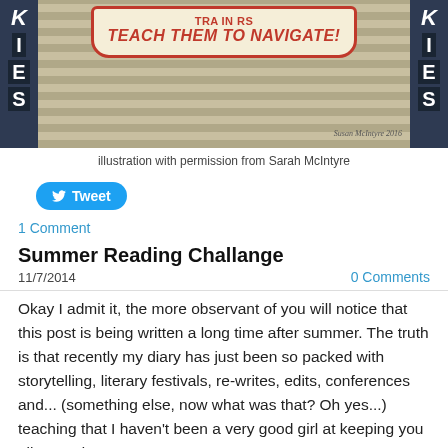[Figure (illustration): Illustrated banner with text 'TEACH THEM TO NAVIGATE!' on a striped background with dark side panels showing letters 'K I E S'. Signed 'Susan McIntyre 2016'.]
illustration with permission from Sarah McIntyre
[Figure (other): Twitter Tweet button (blue rounded rectangle with Twitter bird icon and 'Tweet' text)]
1 Comment
Summer Reading Challange
11/7/2014
0 Comments
Okay I admit it, the more observant of you will notice that this post is being written a long time after summer. The truth is that recently my diary has just been so packed with storytelling, literary festivals, re-writes, edits, conferences and... (something else, now what was that? Oh yes...) teaching that I haven't been a very good girl at keeping you all up to date.